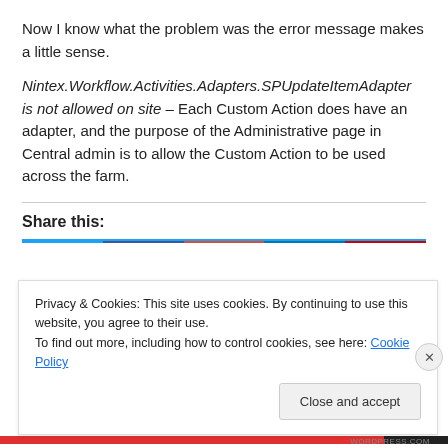Now I know what the problem was the error message makes a little sense.
Nintex.Workflow.Activities.Adapters.SPUpdateItemAdapter is not allowed on site – Each Custom Action does have an adapter, and the purpose of the Administrative page in Central admin is to allow the Custom Action to be used across the farm.
Share this:
Privacy & Cookies: This site uses cookies. By continuing to use this website, you agree to their use.
To find out more, including how to control cookies, see here: Cookie Policy
Close and accept